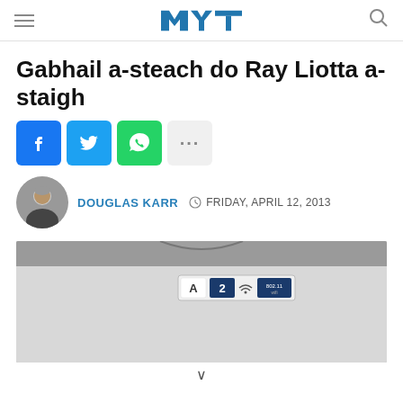MTC logo, hamburger menu, search icon
Gabhail a-steach do Ray Liotta a-staigh
[Figure (other): Social share buttons: Facebook, Twitter, WhatsApp, More]
DOUGLAS KARR  FRIDAY, APRIL 12, 2013
[Figure (photo): Close-up photo of what appears to be an airplane overhead bin panel with seat number labels and a wifi symbol]